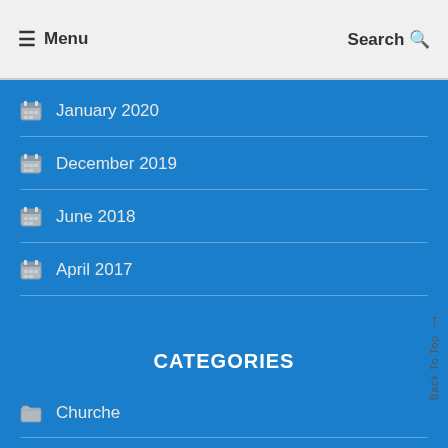Menu  Search
January 2020
December 2019
June 2018
April 2017
CATEGORIES
Churche
Covid-19
Editorial